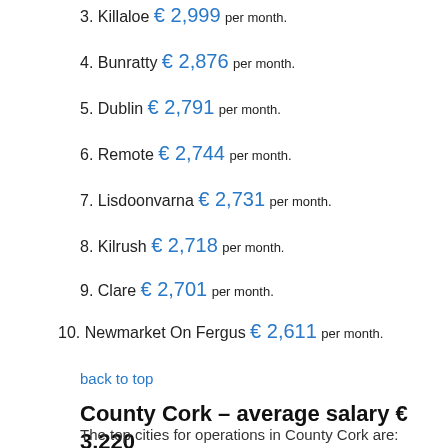3. Killaloe € 2,999 per month.
4. Bunratty € 2,876 per month.
5. Dublin € 2,791 per month.
6. Remote € 2,744 per month.
7. Lisdoonvarna € 2,731 per month.
8. Kilrush € 2,718 per month.
9. Clare € 2,701 per month.
10. Newmarket On Fergus € 2,611 per month.
back to top
County Cork – average salary € 3,220
The top cities for operations in County Cork are:
1. Curraheen € 3,507 per month.